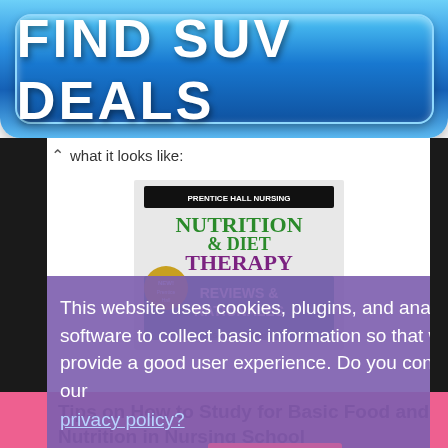[Figure (other): Blue gradient button advertisement banner reading FIND SUV DEALS in large bold white text]
what it looks like:
[Figure (photo): Book cover: Prentice Hall Nursing - Nutrition & Diet Therapy Reviews & Rationales]
This website uses cookies, plugins, and analytics software to collect basic information so that we can provide a good user experience. Do you consent to our privacy policy?
I Consent!
Tips on How to Study for Basic Food and Nutrition in Nursing School
Studying for nursing courses can be very time